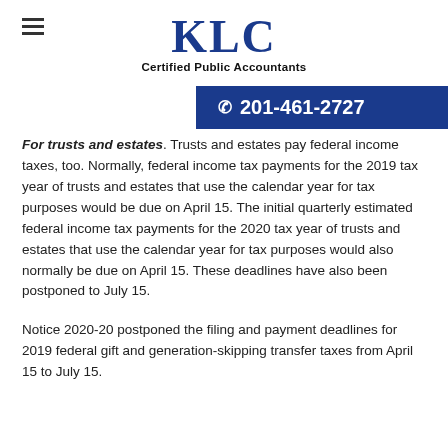KLC Certified Public Accountants
☎ 201-461-2727
For trusts and estates. Trusts and estates pay federal income taxes, too. Normally, federal income tax payments for the 2019 tax year of trusts and estates that use the calendar year for tax purposes would be due on April 15. The initial quarterly estimated federal income tax payments for the 2020 tax year of trusts and estates that use the calendar year for tax purposes would also normally be due on April 15. These deadlines have also been postponed to July 15.
Notice 2020-20 postponed the filing and payment deadlines for 2019 federal gift and generation-skipping transfer taxes from April 15 to July 15.